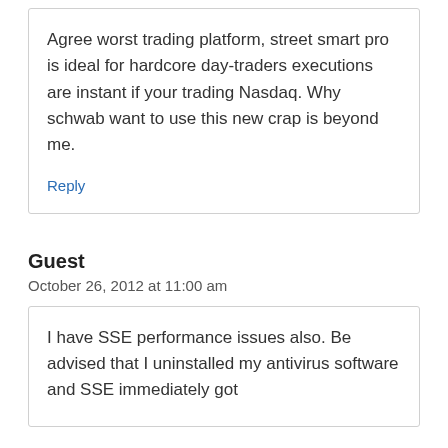Agree worst trading platform, street smart pro is ideal for hardcore day-traders executions are instant if your trading Nasdaq. Why schwab want to use this new crap is beyond me.
Reply
Guest
October 26, 2012 at 11:00 am
I have SSE performance issues also. Be advised that I uninstalled my antivirus software and SSE immediately got